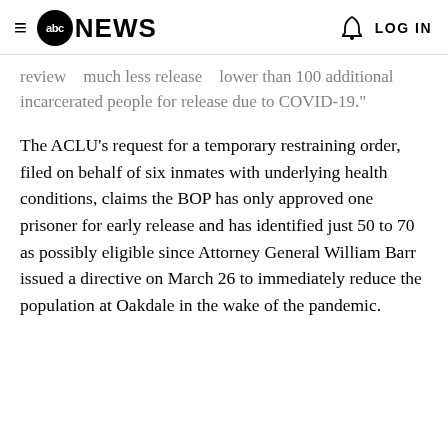≡ abc NEWS   🔔 LOG IN
review   much less release   lower than 100 additional incarcerated people for release due to COVID-19."
The ACLU's request for a temporary restraining order, filed on behalf of six inmates with underlying health conditions, claims the BOP has only approved one prisoner for early release and has identified just 50 to 70 as possibly eligible since Attorney General William Barr issued a directive on March 26 to immediately reduce the population at Oakdale in the wake of the pandemic.